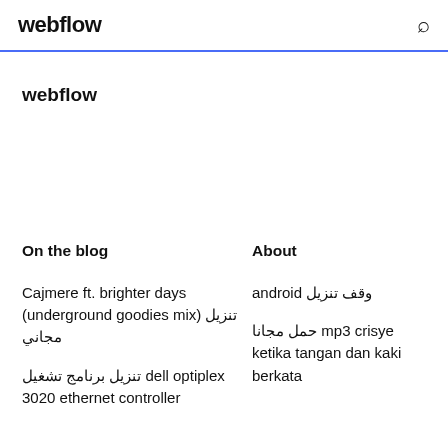webflow
webflow
On the blog
About
Cajmere ft. brighter days (underground goodies mix) تنزيل مجاني
تنزيل برنامج تشغيل dell optiplex 3020 ethernet controller
android وقف تنزيل
حمل مجانا mp3 crisye ketika tangan dan kaki berkata